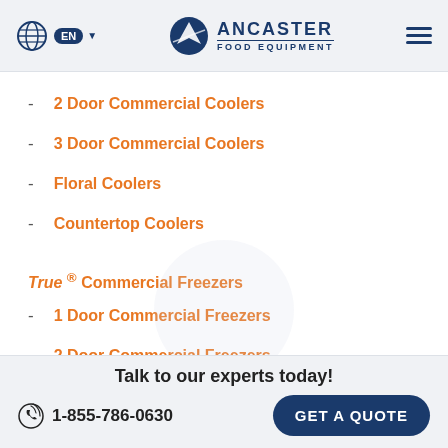EN | ANCASTER FOOD EQUIPMENT
2 Door Commercial Coolers
3 Door Commercial Coolers
Floral Coolers
Countertop Coolers
True ® Commercial Freezers
1 Door Commercial Freezers
2 Door Commercial Freezers
3 Door Commercial Freezers
Talk to our experts today! 1-855-786-0630 GET A QUOTE